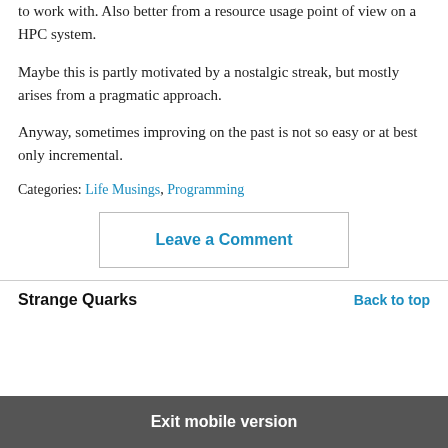to work with. Also better from a resource usage point of view on a HPC system.
Maybe this is partly motivated by a nostalgic streak, but mostly arises from a pragmatic approach.
Anyway, sometimes improving on the past is not so easy or at best only incremental.
Categories: Life Musings, Programming
Leave a Comment
Strange Quarks
Back to top
Exit mobile version